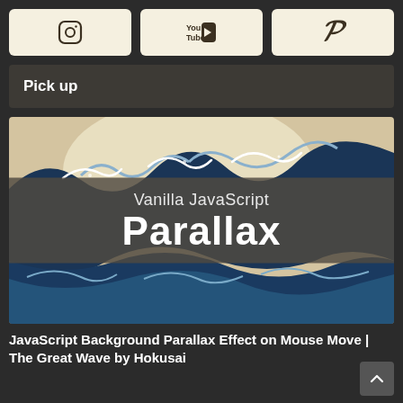[Figure (logo): Three social media icon buttons in a row: Instagram, YouTube, Pinterest, on cream/beige rounded rectangle backgrounds]
Pick up
[Figure (illustration): Article thumbnail image showing Hokusai's The Great Wave with overlaid text 'Vanilla JavaScript Parallax' on a semi-transparent dark band]
JavaScript Background Parallax Effect on Mouse Move | The Great Wave by Hokusai